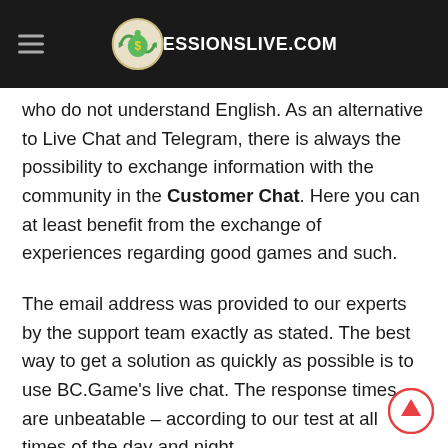ESSIONSLIVE.COM
who do not understand English. As an alternative to Live Chat and Telegram, there is always the possibility to exchange information with the community in the Customer Chat. Here you can at least benefit from the exchange of experiences regarding good games and such.
The email address was provided to our experts by the support team exactly as stated. The best way to get a solution as quickly as possible is to use BC.Game's live chat. The response times are unbeatable – according to our test at all times of the day and night.
A few hundred possibilities are opened after opening the BC.Game Web App with HTML5. Always included are of course the originals.New customers can conveniently register on the go. This step is required as soon as a